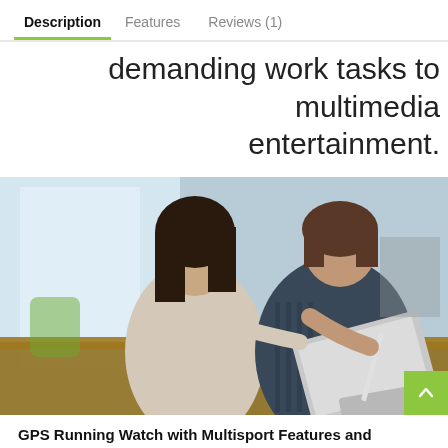Description   Features   Reviews (1)
demanding work tasks to multimedia entertainment.
[Figure (photo): Two women sitting at a table together looking at a laptop/tablet device in an office environment]
GPS Running Watch with Multisport Features and